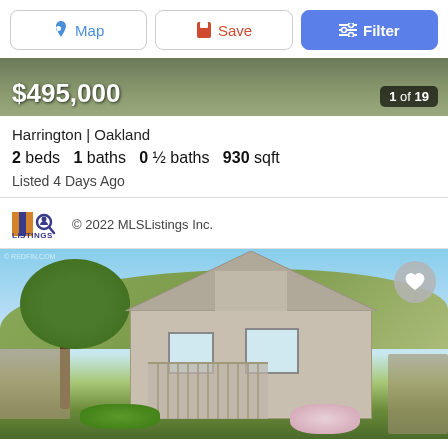[Figure (screenshot): Toolbar with Map, Save, and Filter buttons]
[Figure (photo): Hero image background with price overlay $495,000 and counter 1 of 19]
Harrington | Oakland
2 beds  1 baths  0 ½ baths  930 sqft
Listed 4 Days Ago
[Figure (logo): MLSListings logo with text © 2022 MLSListings Inc.]
[Figure (photo): Exterior photo of a single-story craftsman house with trees, front porch, and garden in Oakland]